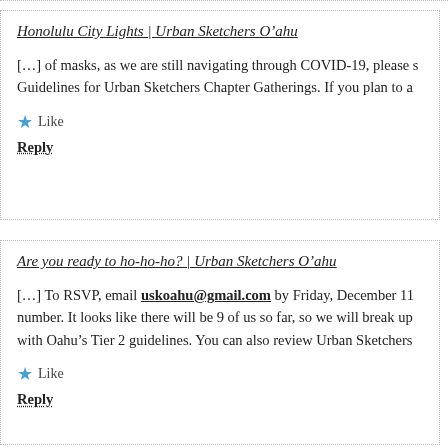Honolulu City Lights | Urban Sketchers O’ahu
[…] of masks, as we are still navigating through COVID-19, please s Guidelines for Urban Sketchers Chapter Gatherings. If you plan to a
Like
Reply
Are you ready to ho-ho-ho? | Urban Sketchers O’ahu
[…] To RSVP, email uskoahu@gmail.com by Friday, December 11 number. It looks like there will be 9 of us so far, so we will break up with Oahu’s Tier 2 guidelines. You can also review Urban Sketchers
Like
Reply